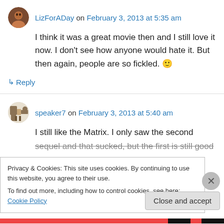LizForADay on February 3, 2013 at 5:35 am
I think it was a great movie then and I still love it now. I don't see how anyone would hate it. But then again, people are so fickled. 🙂
↳ Reply
speaker7 on February 3, 2013 at 5:40 am
I still like the Matrix. I only saw the second sequel and that sucked, but the first is still good
Privacy & Cookies: This site uses cookies. By continuing to use this website, you agree to their use.
To find out more, including how to control cookies, see here: Cookie Policy
Close and accept